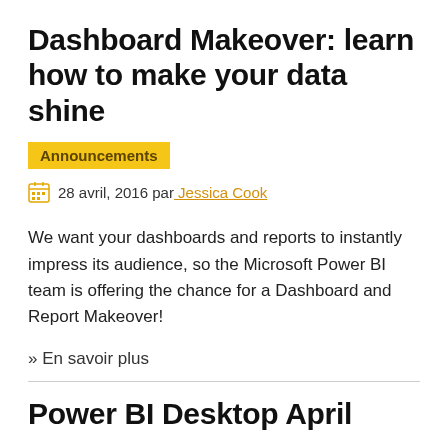Dashboard Makeover: learn how to make your data shine
Announcements
28 avril, 2016 par Jessica Cook
We want your dashboards and reports to instantly impress its audience, so the Microsoft Power BI team is offering the chance for a Dashboard and Report Makeover!
» En savoir plus
Power BI Desktop April